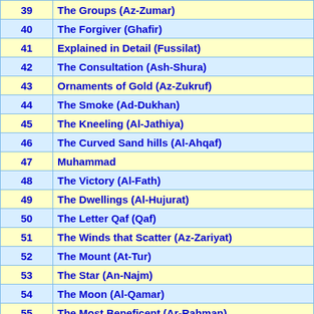| Number | Surah Name |
| --- | --- |
| 39 | The Groups (Az-Zumar) |
| 40 | The Forgiver (Ghafir) |
| 41 | Explained in Detail (Fussilat) |
| 42 | The Consultation (Ash-Shura) |
| 43 | Ornaments of Gold (Az-Zukruf) |
| 44 | The Smoke (Ad-Dukhan) |
| 45 | The Kneeling (Al-Jathiya) |
| 46 | The Curved Sand hills (Al-Ahqaf) |
| 47 | Muhammad |
| 48 | The Victory (Al-Fath) |
| 49 | The Dwellings (Al-Hujurat) |
| 50 | The Letter Qaf (Qaf) |
| 51 | The Winds that Scatter (Az-Zariyat) |
| 52 | The Mount (At-Tur) |
| 53 | The Star (An-Najm) |
| 54 | The Moon (Al-Qamar) |
| 55 | The Most Beneficent (Ar-Rahman) |
| 56 | The Event (Al-Waqi'a) |
| 57 | The Iron (Al-Hadid) |
| 58 | She That Dispute (Al-Mujidala) |
| 59 | The Gathering (Al-Hashr) |